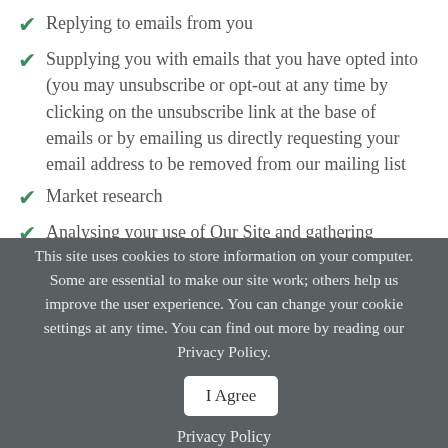Replying to emails from you
Supplying you with emails that you have opted into (you may unsubscribe or opt-out at any time by clicking on the unsubscribe link at the base of emails or by emailing us directly requesting your email address to be removed from our mailing list
Market research
Analysing your use of Our Site and gathering
This site uses cookies to store information on your computer. Some are essential to make our site work; others help us improve the user experience. You can change your cookie settings at any time. You can find out more by reading our Privacy Policy.
I Agree
Privacy Policy